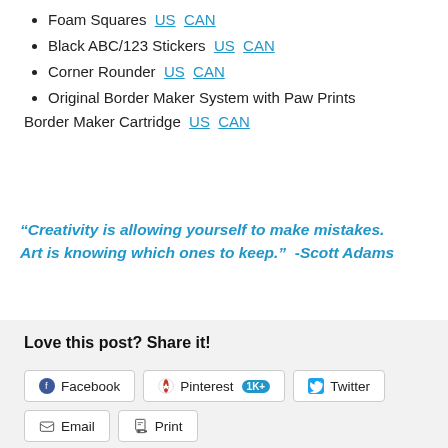Foam Squares  US  CAN
Black ABC/123 Stickers  US  CAN
Corner Rounder  US  CAN
Original Border Maker System with Paw Prints Border Maker Cartridge  US  CAN
“Creativity is allowing yourself to make mistakes. Art is knowing which ones to keep.”  -Scott Adams
Love this post? Share it!
Facebook  Pinterest 1K+  Twitter  Email  Print